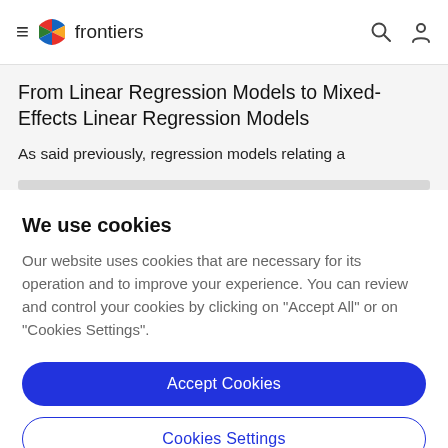frontiers
From Linear Regression Models to Mixed-Effects Linear Regression Models
As said previously, regression models relating a
We use cookies
Our website uses cookies that are necessary for its operation and to improve your experience. You can review and control your cookies by clicking on "Accept All" or on "Cookies Settings".
Accept Cookies
Cookies Settings